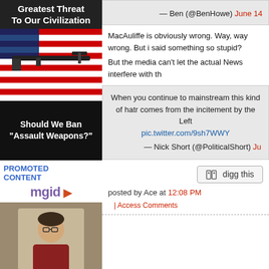Greatest Threat To Our Civilization
[Figure (photo): Assault rifle on American flag]
Should We Ban "Assault Weapons?"
PROMOTED CONTENT
[Figure (logo): mgid logo with play button]
[Figure (photo): Woman with glasses in red jacket]
20 "The Big Bang Theory" Moments Only A Few Fans
— Ben (@BenHowe) June 14
MacAuliffe is obviously wrong. Way, way wrong. But i said something so stupid?
But the media can't let the actual News interfere with th
When you continue to mainstream this kind of hatr comes from the incitement by the Left pic.twitter.com/9sh7WWY
— Nick Short (@PoliticalShort) Ju
digg this
posted by Ace at 12:08 PM
| Access Comments